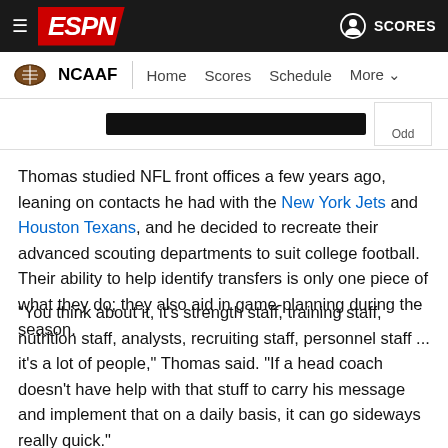ESPN — NCAAF | Home | Scores | Schedule | More
[Figure (screenshot): Partial widget or ad bar showing a dark bar and an 'Odd' label box]
Thomas studied NFL front offices a few years ago, leaning on contacts he had with the New York Jets and Houston Texans, and he decided to recreate their advanced scouting departments to suit college football. Their ability to help identify transfers is only one piece of what they do; they also aid in game-planning during the season.
"You think about it, it's strength staff, training staff, nutrition staff, analysts, recruiting staff, personnel staff ... it's a lot of people," Thomas said. "If a head coach doesn't have help with that stuff to carry his message and implement that on a daily basis, it can go sideways really quick."